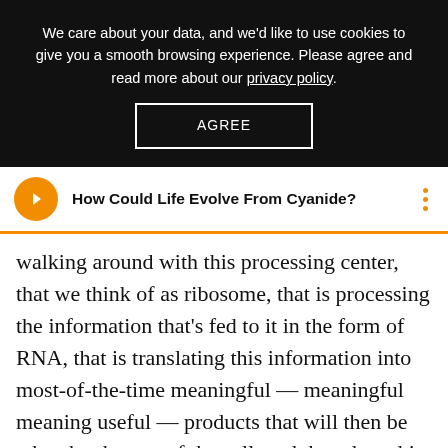We care about your data, and we'd like to use cookies to give you a smooth browsing experience. Please agree and read more about our privacy policy.
AGREE
How Could Life Evolve From Cyanide?
walking around with this processing center, that we think of as ribosome, that is processing the information that's fed to it in the form of RNA, that is translating this information into most-of-the-time meaningful — meaningful meaning useful — products that will then be taken by the rest of the cell, and then does this continuously for billions of years. Some may even say that there may not be any forms of life in the universe that